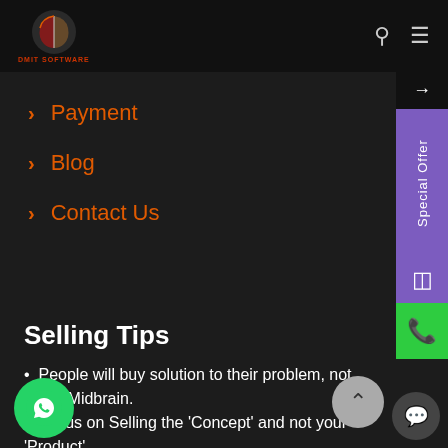DMIT SOFTWARE
Payment
Blog
Contact Us
Selling Tips
People will buy solution to their problem, not DMIT/Midbrain.
Focus on Selling the 'Concept' and not your 'Product'.